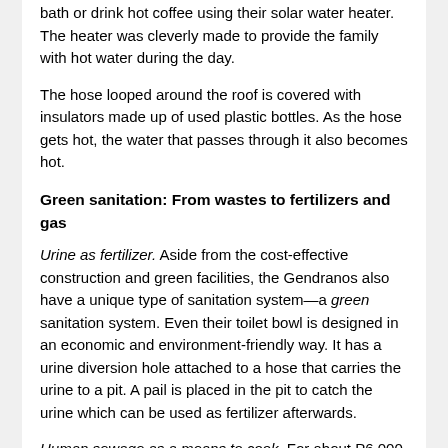bath or drink hot coffee using their solar water heater. The heater was cleverly made to provide the family with hot water during the day.
The hose looped around the roof is covered with insulators made up of used plastic bottles.  As the hose gets hot, the water that passes through it also becomes hot.
Green sanitation: From wastes to fertilizers and gas
Urine as fertilizer. Aside from the cost-effective construction and green facilities, the Gendranos also have a unique type of sanitation system—a green sanitation system. Even their toilet bowl is designed in an economic and environment-friendly way. It has a urine diversion hole attached to a hose that carries the urine to a pit.  A pail is placed in the pit to catch the urine which can be used as fertilizer afterwards.
Human sewage as a means to cook. For about P6,000, Engr. Gendrano also constructed a biogas septic tank